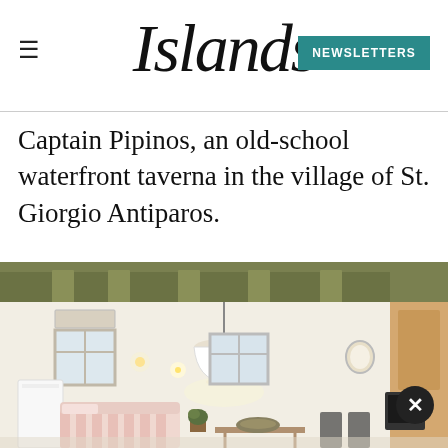Islands — NEWSLETTERS
Captain Pipinos, an old-school waterfront taverna in the village of St. Giorgio Antiparos.
[Figure (photo): Interior of a Mediterranean-style villa or guesthouse with wooden ceiling beams painted dark green, white walls, a hanging white pendant lamp, a window, striped pink and white sofa/seating, and casual furniture. The room has a bright, airy feel with warm lighting.]